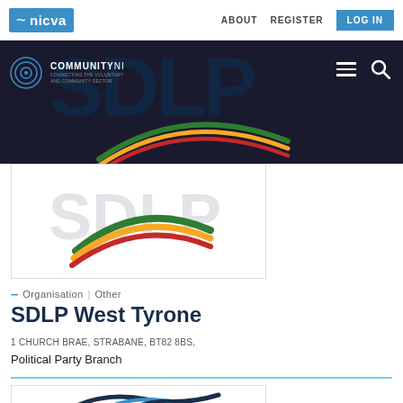nicva   ABOUT  REGISTER  LOG IN
[Figure (logo): COMMUNITY NI logo on dark banner with SDLP watermark text, hamburger menu and search icons]
[Figure (logo): SDLP logo with rainbow swoosh design on white card background]
– Organisation | Other
SDLP West Tyrone
1 CHURCH BRAE, STRABANE, BT82 8BS,
Political Party Branch
[Figure (logo): Partial view of another organization logo at the bottom of the page]